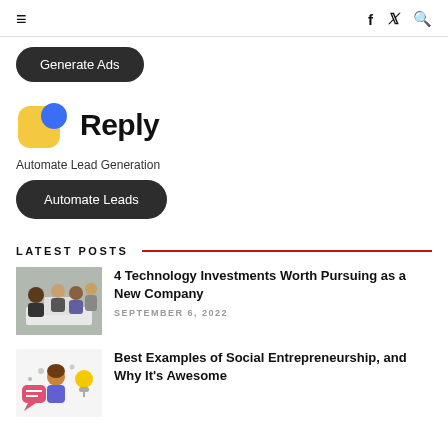≡  f  🐦  🔍
[Figure (other): Dark rounded button labeled 'Generate Ads']
[Figure (logo): Reply app logo: yellow rounded square with blue circle, followed by bold text 'Reply']
Automate Lead Generation
[Figure (other): Dark rounded button labeled 'Automate Leads']
LATEST POSTS
[Figure (photo): Photo of a diverse group of people around a laptop]
4 Technology Investments Worth Pursuing as a New Company
SEPTEMBER 6, 2022
[Figure (illustration): Illustrated image with cartoon characters and icons related to social entrepreneurship]
Best Examples of Social Entrepreneurship, and Why It's Awesome